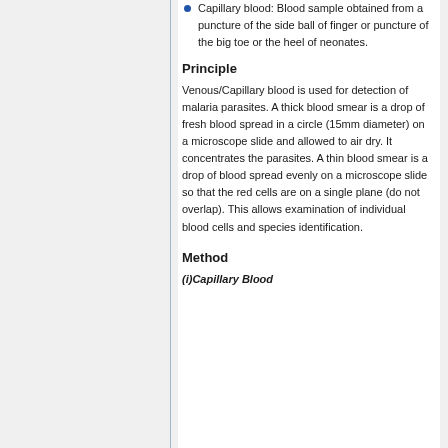Capillary blood: Blood sample obtained from a puncture of the side ball of finger or puncture of the big toe or the heel of neonates.
Principle
Venous/Capillary blood is used for detection of malaria parasites. A thick blood smear is a drop of fresh blood spread in a circle (15mm diameter) on a microscope slide and allowed to air dry. It concentrates the parasites. A thin blood smear is a drop of blood spread evenly on a microscope slide so that the red cells are on a single plane (do not overlap). This allows examination of individual blood cells and species identification.
Method
(i)Capillary Blood